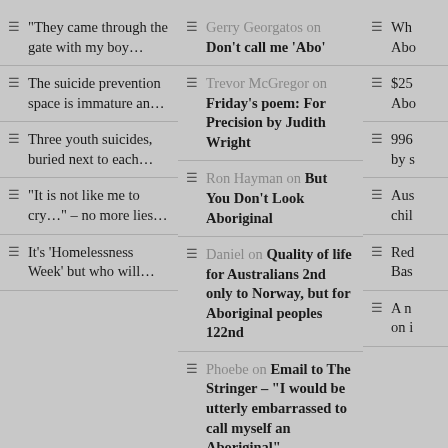“They came through the gate with my boy…
The suicide prevention space is immature an…
Three youth suicides, buried next to each…
“It is not like me to cry…” – no more lies…
It’s ‘Homelessness Week’ but who will…
Gerry Georgatos on Don’t call me ‘Abo’
Trevor McGregor on Friday’s poem: For Precision by Judith Wright
Ron Hayman on But You Don’t Look Aboriginal
Daniel on Quality of life for Australians 2nd only to Norway, but for Aboriginal peoples 122nd
Phoebe on Email to The Stringer – “I would be utterly embarrassed to call myself an Aboriginal”
Wh… Abo…
$25… Abo…
996… by s…
Aus… chil…
Red… Bas…
A n… on i…